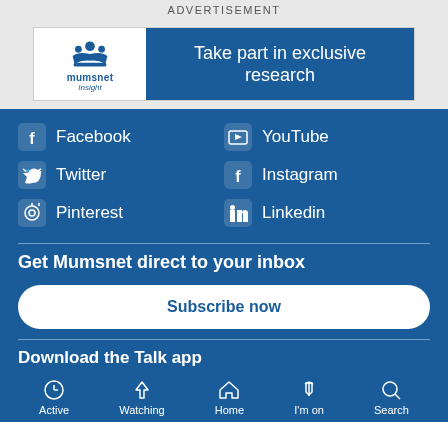ADVERTISEMENT
[Figure (logo): Mumsnet Insight advertisement banner: logo on left with crown graphic and text 'mumsnet insight', blue panel on right with text 'Take part in exclusive research']
Facebook
YouTube
Twitter
Instagram
Pinterest
Linkedin
Get Mumsnet direct to your inbox
Subscribe now
Download the Talk app
Active
Watching
Home
I'm on
Search